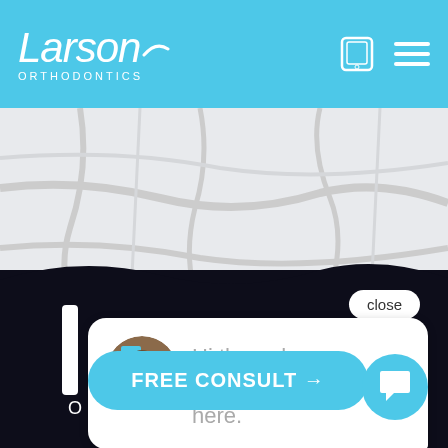[Figure (logo): Larson Orthodontics logo in white on blue header]
[Figure (map): Gray road map background showing street layout]
[Figure (screenshot): Chat widget with close button, avatar, message 'Hi there, have a question? Text us here.', FREE CONSULT button, and chat icon button on dark background]